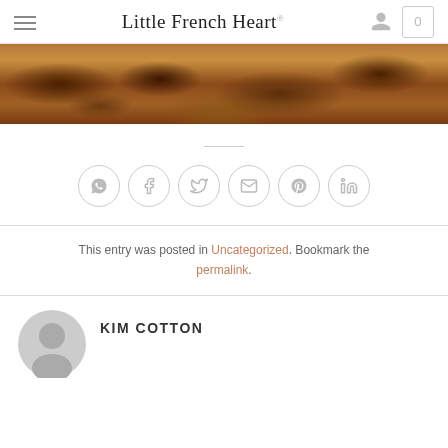Little French Heart
[Figure (photo): Close-up photograph of baked food, appears to be a caramelized pastry or tart with golden-brown and dark caramel tones.]
[Figure (infographic): Six social media sharing icon circles: WhatsApp, Facebook, Twitter, Email, Pinterest, LinkedIn]
This entry was posted in Uncategorized. Bookmark the permalink.
KIM COTTON